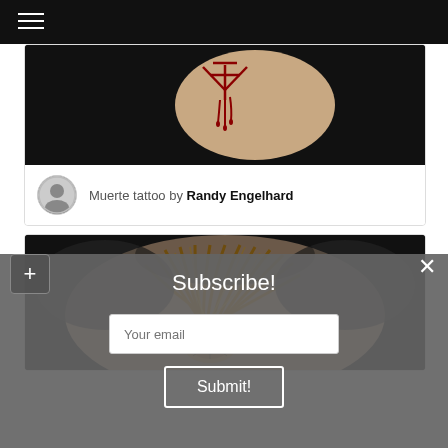[Figure (screenshot): Black navigation bar with hamburger menu icon at top left]
[Figure (photo): Close-up photo of a tattoo on skin showing a red bleeding symbol/sigil on a dark background, partial view]
Muerte tattoo by Randy Engelhard
[Figure (photo): Close-up photo of a tattoo showing a compass or mandala design with golden hair-like feathers surrounding it, on black background, partial view]
Subscribe!
Your email
Submit!